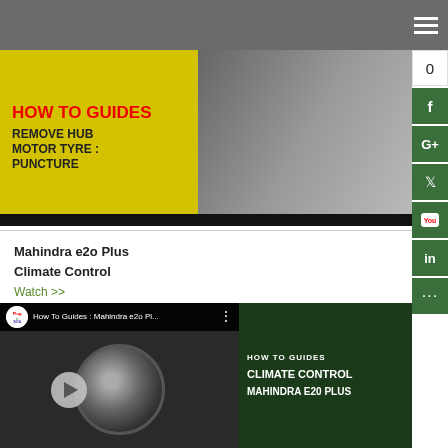Navigation bar with hamburger menu
[Figure (screenshot): Video thumbnail: HOW TO GUIDES - REMOVE HUB MOTOR TYRE : PUNCTURE, yellow background with tyre image]
Mahindra e2o Plus Climate Control
Watch >>
[Figure (screenshot): Video thumbnail: How To Guides : Mahindra e2o Pl... - HOW TO GUIDES CLIMATE CONTROL MAHINDRA E20 PLUS, showing climate control dial with play button]